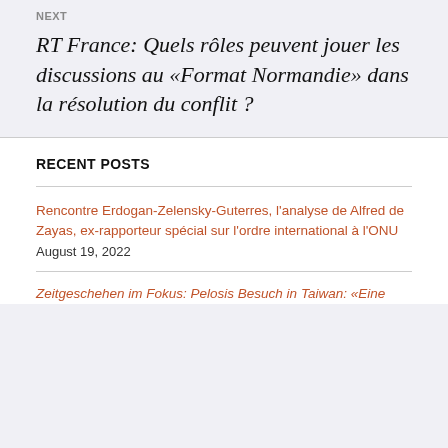NEXT
RT France: Quels rôles peuvent jouer les discussions au «Format Normandie» dans la résolution du conflit ?
RECENT POSTS
Rencontre Erdogan-Zelensky-Guterres, l'analyse de Alfred de Zayas, ex-rapporteur spécial sur l'ordre international à l'ONU
August 19, 2022
Zeitgeschehen im Fokus: Pelosis Besuch in Taiwan: «Eine